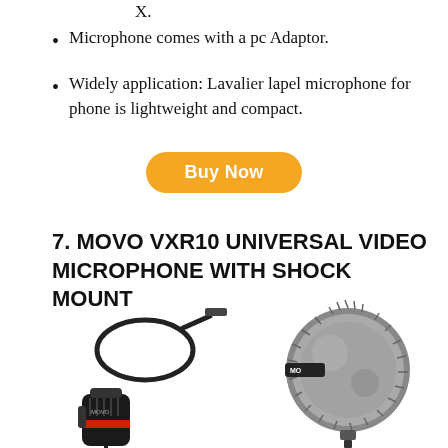X.
Microphone comes with a pc Adaptor.
Widely application: Lavalier lapel microphone for phone is lightweight and compact.
Buy Now
7. MOVO VXR10 UNIVERSAL VIDEO MICROPHONE WITH SHOCK MOUNT
[Figure (photo): Product photo showing Movo VXR10 microphone with cable on left and a furry windscreen ball on right]